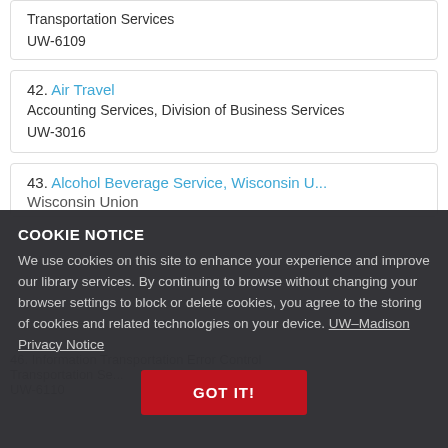Transportation Services
UW-6109
42. Air Travel
Accounting Services, Division of Business Services
UW-3016
43. Alcohol Beverage Service, Wisconsin U...
Wisconsin Union
COOKIE NOTICE
We use cookies on this site to enhance your experience and improve our library services. By continuing to browse without changing your browser settings to block or delete cookies, you agree to the storing of cookies and related technologies on your device. UW–Madison Privacy Notice
46. Information Transportation Error Control
Transportation Se...
UW-6110